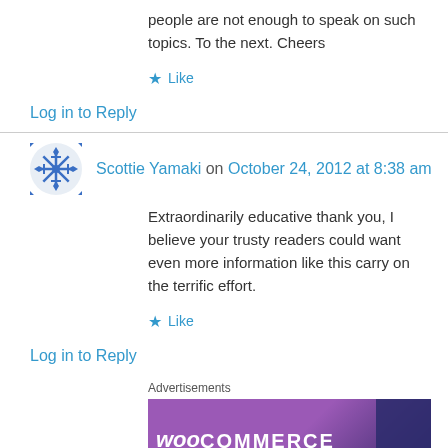people are not enough to speak on such topics. To the next. Cheers
★ Like
Log in to Reply
Scottie Yamaki on October 24, 2012 at 8:38 am
Extraordinarily educative thank you, I believe your trusty readers could want even more information like this carry on the terrific effort.
★ Like
Log in to Reply
Advertisements
[Figure (logo): WooCommerce advertisement banner with purple gradient background and white logo text]